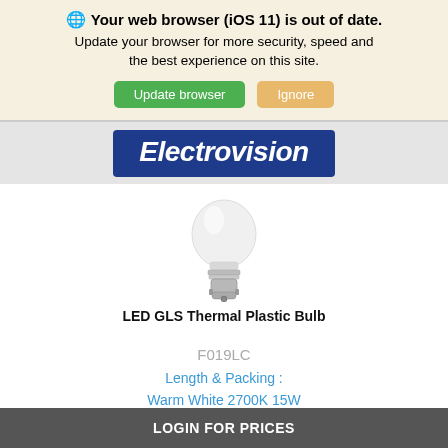🌐 Your web browser (iOS 11) is out of date. Update your browser for more security, speed and the best experience on this site.
Update browser | Ignore
[Figure (logo): Electrovision logo — white italic bold text on dark blue rectangle background]
[Figure (photo): LED GLS Thermal Plastic Bulb with bayonet cap, white/frosted globe top and silver metal base]
LED GLS Thermal Plastic Bulb
F019LC
Length & Packing : Warm White 2700K 15W
LOGIN FOR PRICES